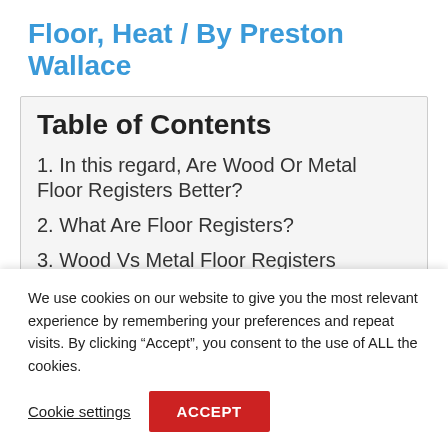Floor, Heat / By Preston Wallace
Table of Contents
1. In this regard, Are Wood Or Metal Floor Registers Better?
2. What Are Floor Registers?
3. Wood Vs Metal Floor Registers
4. But How Do They Compare To
We use cookies on our website to give you the most relevant experience by remembering your preferences and repeat visits. By clicking “Accept”, you consent to the use of ALL the cookies.
Cookie settings  ACCEPT